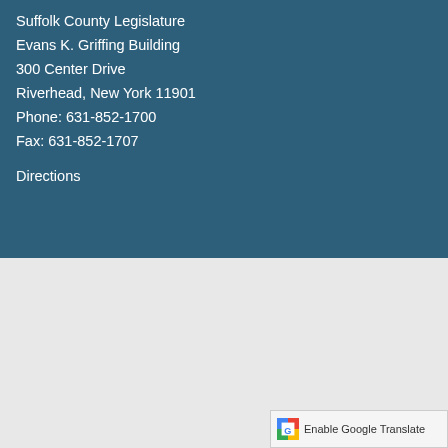Suffolk County Legislature
Evans K. Griffing Building
300 Center Drive
Riverhead, New York 11901
Phone: 631-852-1700
Fax: 631-852-1707
Directions
Home   Site Map   Contact Us   Accessibility   Legal Disclaimer/Privacy Policy   Government Websites by CivicPlus®   Staff Email Portal
[Figure (infographic): Share button (dark blue circle with share icon) and Settings button (dark blue circle with gear icon)]
[Figure (infographic): Google Translate bar with Google multicolor icon and text 'Enable Google Translate']